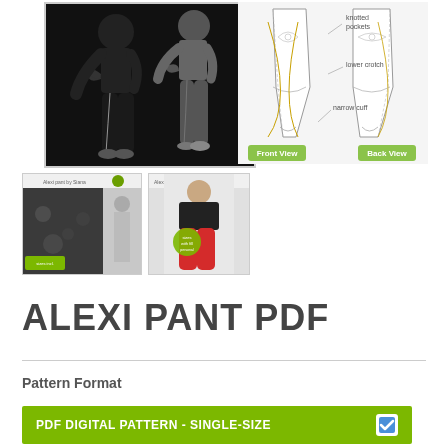[Figure (photo): Two people wearing black pants with knotted pocket detail, shown against a white background.]
[Figure (schematic): Technical sewing schematic showing front and back views of the Alexi Pant with labels for knotted pockets, lower crotch, and narrow cuff. Green buttons labeled Front View and Back View.]
[Figure (photo): Thumbnail cover image of Alexi pant by Siana showing floral print pants.]
[Figure (photo): Thumbnail showing person wearing red Alexi pants.]
ALEXI PANT PDF
Pattern Format
PDF DIGITAL PATTERN - SINGLE-SIZE